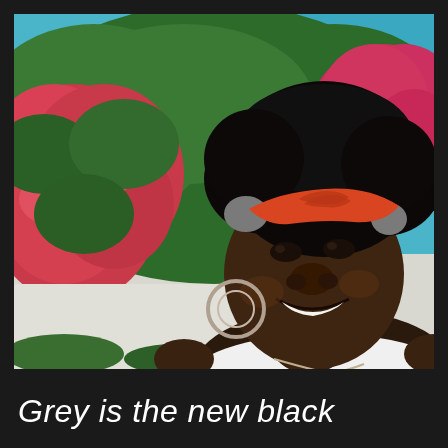[Figure (photo): A smiling woman with natural black hair wearing an orange twisted headband and white top, photographed outdoors in front of lush bougainvillea bushes with vivid pink/red flowers and green foliage against a blue and white wall background.]
Grey is the new black